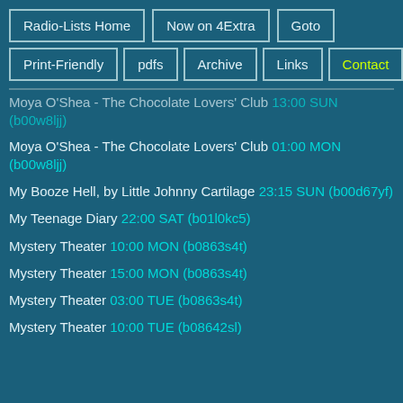Radio-Lists Home | Now on 4Extra | Goto | Print-Friendly | pdfs | Archive | Links | Contact
Moya O'Shea - The Chocolate Lovers' Club 13:00 SUN (b00w8ljj)
Moya O'Shea - The Chocolate Lovers' Club 01:00 MON (b00w8ljj)
My Booze Hell, by Little Johnny Cartilage 23:15 SUN (b00d67yf)
My Teenage Diary 22:00 SAT (b01l0kc5)
Mystery Theater 10:00 MON (b0863s4t)
Mystery Theater 15:00 MON (b0863s4t)
Mystery Theater 03:00 TUE (b0863s4t)
Mystery Theater 10:00 TUE (b08642sl)